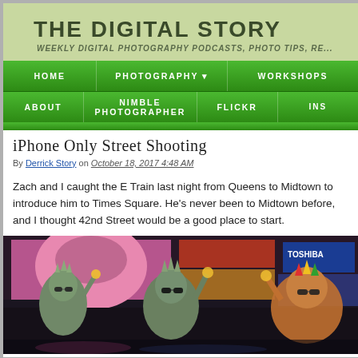THE DIGITAL STORY
WEEKLY DIGITAL PHOTOGRAPHY PODCASTS, PHOTO TIPS, RE...
HOME | PHOTOGRAPHY | WORKSHOPS | ABOUT | NIMBLE PHOTOGRAPHER | FLICKR | INS...
iPhone Only Street Shooting
By Derrick Story on October 18, 2017 4:48 AM
Zach and I caught the E Train last night from Queens to Midtown to introduce him to Times Square. He's never been to Midtown before, and I thought 42nd Street would be a good place to start.
[Figure (photo): Street photo of costumed performers dressed as Statue of Liberty characters in Times Square, New York City at night, with bright billboards and Toshiba sign visible in background.]